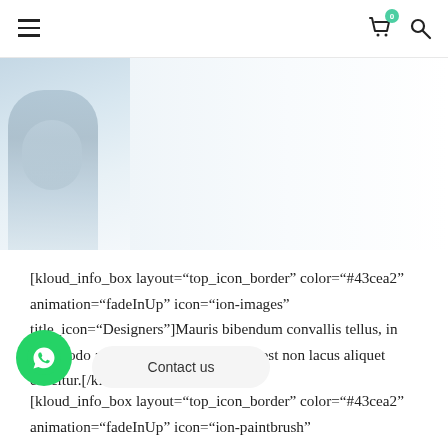Navigation bar with hamburger menu, cart icon (badge: 0), and search icon
[Figure (photo): Partial photo of a person (likely medical/health context) on the left side, fading to white on the right]
[kloud_info_box layout="top_icon_border" color="#43cea2" animation="fadeInUp" icon="ion-images" title_icon="Designers"]Mauris bibendum convallis tellus, in commodo ante cursus ac. Aliquam eu est non lacus aliquet efficitur.[/kloud_info_box]
[kloud_info_box layout="top_icon_border" color="#43cea2" animation="fadeInUp" icon="ion-paintbrush"